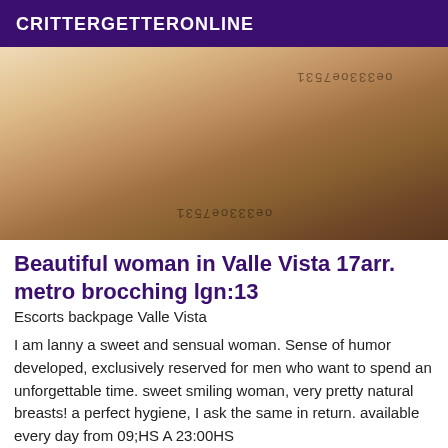CRITTERGETTERONLINE
[Figure (photo): Photo of a woman on a bed with watermark text reversed reading 'oe333oe7531']
Beautiful woman in Valle Vista 17arr. metro brocching lgn:13
Escorts backpage Valle Vista
I am lanny a sweet and sensual woman. Sense of humor developed, exclusively reserved for men who want to spend an unforgettable time. sweet smiling woman, very pretty natural breasts! a perfect hygiene, I ask the same in return. available every day from 09;HS A 23:00HS